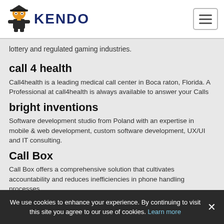KENDO
lottery and regulated gaming industries.
call 4 health
Call4health is a leading medical call center in Boca raton, Florida. A Professional at call4health is always available to answer your Calls
bright inventions
Software development studio from Poland with an expertise in mobile & web development, custom software development, UX/UI and IT consulting.
Call Box
Call Box offers a comprehensive solution that cultivates accountability and reduces inefficiencies in phone handling processes.
We use cookies to enhance your experience. By continuing to visit this site you agree to our use of cookies. Learn more